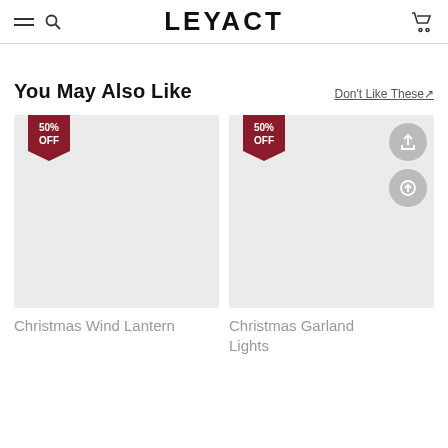LEYACT
You May Also Like
Don't Like These↗
[Figure (photo): Product image placeholder with 50% OFF badge — Christmas Wind Lantern]
Christmas Wind Lantern
[Figure (photo): Product image placeholder with 50% OFF badge and share/scroll-to-top action buttons — Christmas Garland Lights]
Christmas Garland Lights